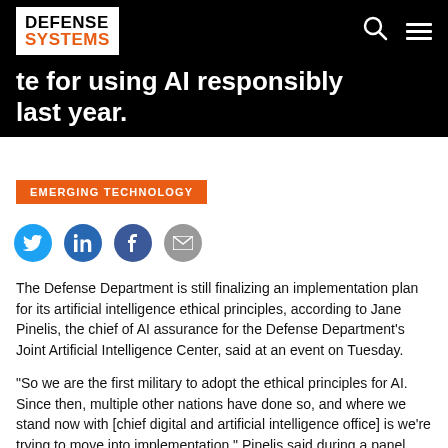DEFENSE SYSTEMS
te for using AI responsibly last year.
EMERGING TECHNOLOGY
[Figure (other): Social sharing icons: Twitter, LinkedIn, Facebook, Email]
The Defense Department is still finalizing an implementation plan for its artificial intelligence ethical principles, according to Jane Pinelis, the chief of AI assurance for the Defense Department's Joint Artificial Intelligence Center, said at an event on Tuesday.
"So we are the first military to adopt the ethical principles for AI. Since then, multiple other nations have done so, and where we stand now with [chief digital and artificial intelligence office] is we're trying to move into implementation," Pinelis said during a panel discussion at the Atlantic Council on May